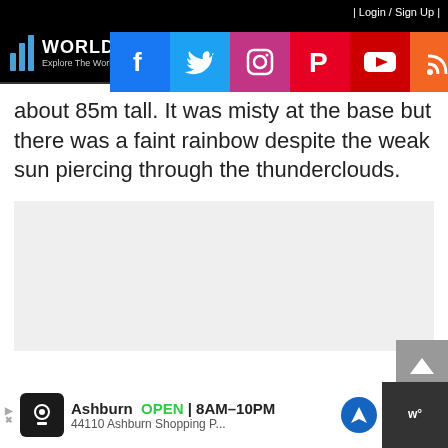| Login / Sign Up |
[Figure (logo): World of Waterfalls logo with blue bar lines and text: World of Waterfalls - Explore The World One Waterfall At A Time]
about 85m tall. It was misty at the base but there was a faint rainbow despite the weak sun piercing through the thunderclouds.
[Figure (infographic): Social media share buttons: Facebook, Twitter, Instagram, Pinterest, YouTube, RSS feed]
[Figure (other): Gray advertisement placeholder box]
Ashburn  OPEN  8AM-10PM  44110 Ashburn Shopping P...